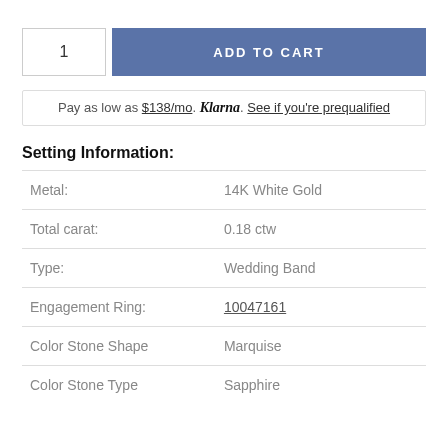1   ADD TO CART
Pay as low as $138/mo. Klarna. See if you're prequalified
Setting Information:
| Metal: | 14K White Gold |
| Total carat: | 0.18 ctw |
| Type: | Wedding Band |
| Engagement Ring: | 10047161 |
| Color Stone Shape | Marquise |
| Color Stone Type | Sapphire |